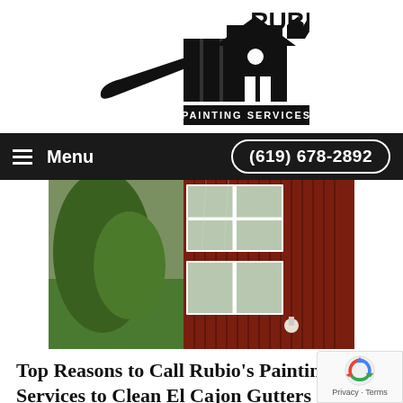[Figure (logo): Rubio's Painting Services logo with paint brush and house silhouette in black and white]
Menu   (619) 678-2892
[Figure (photo): Red barn or building exterior with white-trimmed windows, green lawn, rainy or wet conditions]
Top Reasons to Call Rubio's Painting Services to Clean El Cajon Gutters